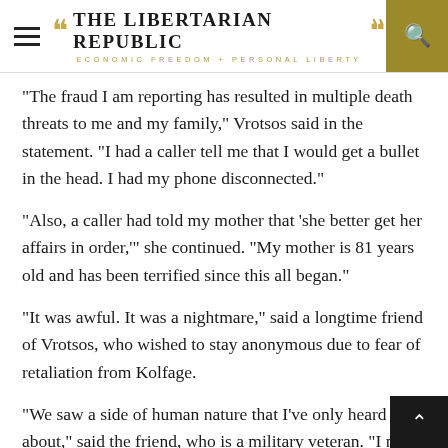THE LIBERTARIAN REPUBLIC — ECONOMIC FREEDOM + PERSONAL LIBERTY
“The fraud I am reporting has resulted in multiple death threats to me and my family,” Vrotsos said in the statement. “I had a caller tell me that I would get a bullet in the head. I had my phone disconnected.”
“Also, a caller had told my mother that ‘she better get her affairs in order,’” she continued. “My mother is 81 years old and has been terrified since this all began.”
“It was awful. It was a nightmare,” said a longtime friend of Vrotsos, who wished to stay anonymous due to fear of retaliation from Kolfage.
“We saw a side of human nature that I’ve only heard about,” said the friend, who is a military veteran. “I never witnessed or been around anything like that. I just did not know that people could treat other people…